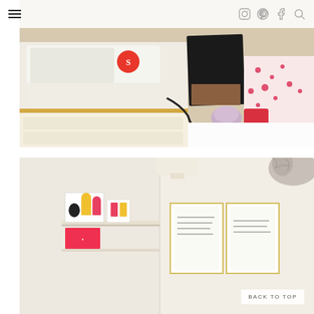Navigation header with hamburger menu and social icons (Instagram, Pinterest, Facebook, Search)
[Figure (photo): Top-down view of a sewing workspace with a white Singer sewing machine on a light wood table, black fabric, patterned pink/red fabric, small purple pincushion, red accessory box, and sewing tools]
[Figure (photo): Interior craft room with white walls, a ledge shelf holding art prints and colorful silhouette cards, framed handwritten notes on the wall, a cat partially visible in the upper right corner]
BACK TO TOP